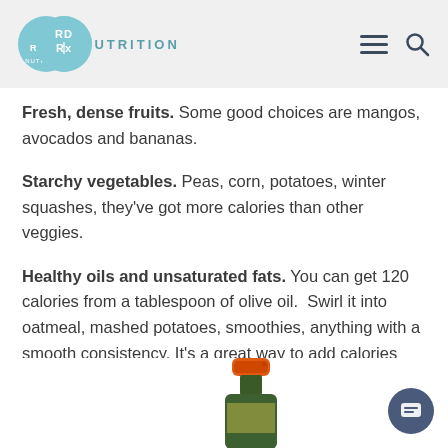RD Rx NUTRITION
Fresh, dense fruits. Some good choices are mangos, avocados and bananas.
Starchy vegetables. Peas, corn, potatoes, winter squashes, they've got more calories than other veggies.
Healthy oils and unsaturated fats. You can get 120 calories from a tablespoon of olive oil.  Swirl it into oatmeal, mashed potatoes, smoothies, anything with a smooth consistency. It's a great way to add calories without really noticing them.
[Figure (photo): Partial view of an olive oil bottle with orange cap, bottom of bottle visible from the neck down]